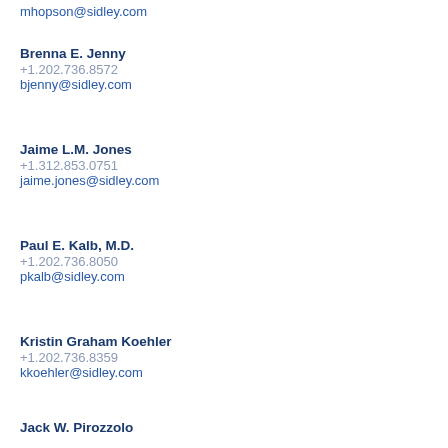mhopson@sidley.com
Brenna E. Jenny
+1.202.736.8572
bjenny@sidley.com
Jaime L.M. Jones
+1.312.853.0751
jaime.jones@sidley.com
Paul E. Kalb, M.D.
+1.202.736.8050
pkalb@sidley.com
Kristin Graham Koehler
+1.202.736.8359
kkoehler@sidley.com
Jack W. Pirozzolo